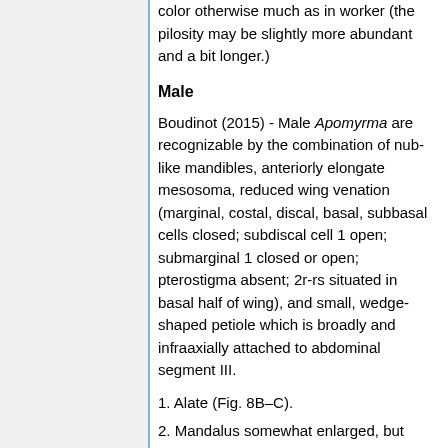color otherwise much as in worker (the pilosity may be slightly more abundant and a bit longer.)
Male
Boudinot (2015) - Male Apomyrma are recognizable by the combination of nub-like mandibles, anteriorly elongate mesosoma, reduced wing venation (marginal, costal, discal, basal, subbasal cells closed; subdiscal cell 1 open; submarginal 1 closed or open; pterostigma absent; 2r-rs situated in basal half of wing), and small, wedge-shaped petiole which is broadly and infraaxially attached to abdominal segment III.
1. Alate (Fig. 8B–C).
2. Mandalus somewhat enlarged, but clearly ringed by sclerotized mandibular